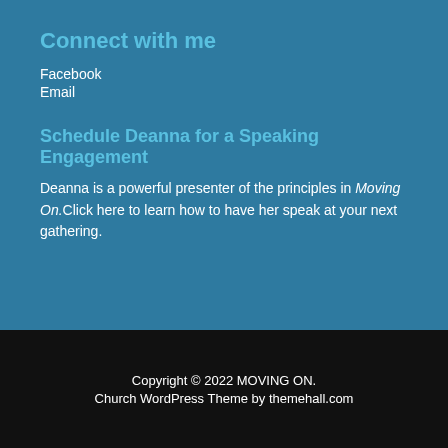Connect with me
Facebook
Email
Schedule Deanna for a Speaking Engagement
Deanna is a powerful presenter of the principles in Moving On.Click here to learn how to have her speak at your next gathering.
Copyright © 2022 MOVING ON. Church WordPress Theme by themehall.com